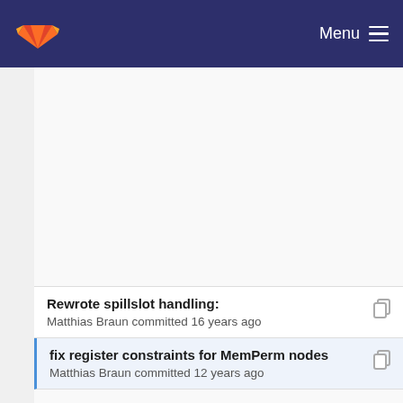GitLab Menu
Rewrote spillslot handling:
Matthias Braun committed 16 years ago
fix register constraints for MemPerm nodes
Matthias Braun committed 12 years ago
Add OALLOC*() to make allocating from obstacks ...
Christoph Mallon committed 13 years ago
Imprint